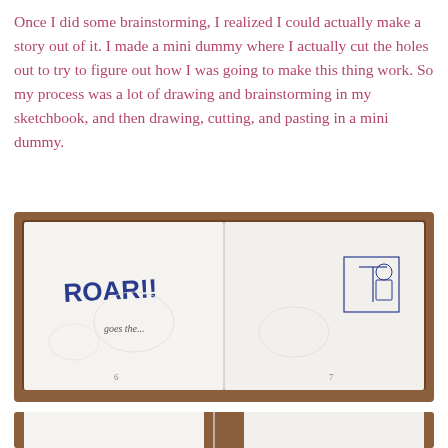Once I did some brainstorming, I realized I could actually make a story out of it. I made a mini dummy where I actually cut the holes out to try to figure out how I was going to make this thing work. So my process was a lot of drawing and brainstorming in my sketchbook, and then drawing, cutting, and pasting in a mini dummy.
[Figure (photo): Open sketchbook/mini dummy on a wooden table showing two pages: left page has 'ROAR!!' written in blue marker with 'goes the...' below, page numbered 6; right page has a small rectangular sketch/illustration with a figure, page numbered 7.]
[Figure (photo): Partial view of another open sketchbook on a wooden table, cropped at bottom of page.]